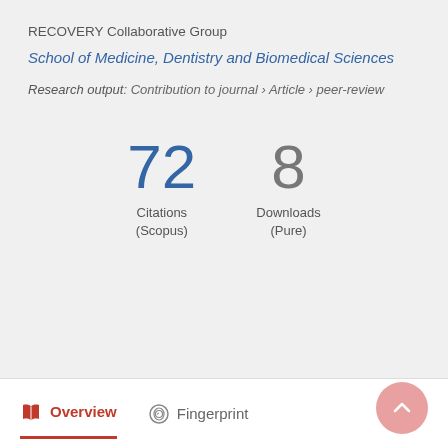RECOVERY Collaborative Group
School of Medicine, Dentistry and Biomedical Sciences
Research output: Contribution to journal › Article › peer-review
72 Citations (Scopus)
8 Downloads (Pure)
Overview
Fingerprint